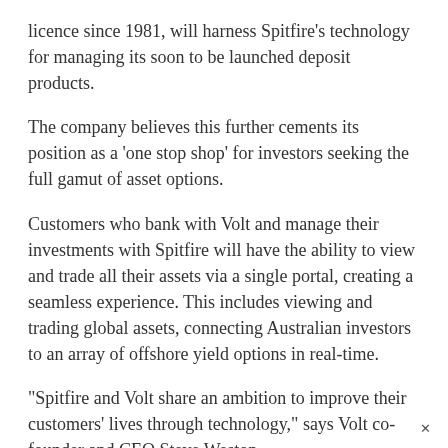licence since 1981, will harness Spitfire's technology for managing its soon to be launched deposit products.
The company believes this further cements its position as a 'one stop shop' for investors seeking the full gamut of asset options.
Customers who bank with Volt and manage their investments with Spitfire will have the ability to view and trade all their assets via a single portal, creating a seamless experience. This includes viewing and trading global assets, connecting Australian investors to an array of offshore yield options in real-time.
"Spitfire and Volt share an ambition to improve their customers' lives through technology," says Volt co-founder and CEO Steve Weston.
"This partnership will contribute to a seamless and transparent investment experience and better connect Australians to international opportunities.